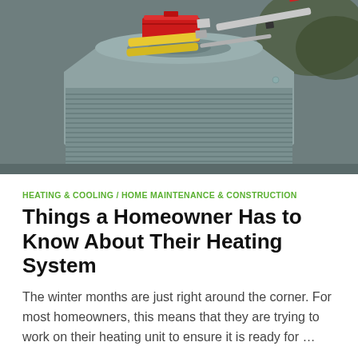[Figure (photo): An outdoor HVAC / air conditioning unit with a red toolbox and several screwdrivers and tools resting on top of it.]
HEATING & COOLING / HOME MAINTENANCE & CONSTRUCTION
Things a Homeowner Has to Know About Their Heating System
The winter months are just right around the corner. For most homeowners, this means that they are trying to work on their heating unit to ensure it is ready for …